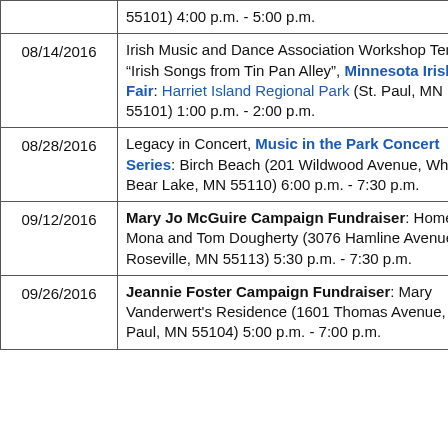| Date | Event |
| --- | --- |
|  | 55101) 4:00 p.m. - 5:00 p.m. |
| 08/14/2016 | Irish Music and Dance Association Workshop Tent: "Irish Songs from Tin Pan Alley", Minnesota Irish Fair: Harriet Island Regional Park (St. Paul, MN 55101) 1:00 p.m. - 2:00 p.m. |
| 08/28/2016 | Legacy in Concert, Music in the Park Concert Series: Birch Beach (201 Wildwood Avenue, White Bear Lake, MN 55110) 6:00 p.m. - 7:30 p.m. |
| 09/12/2016 | Mary Jo McGuire Campaign Fundraiser: Home of Mona and Tom Dougherty (3076 Hamline Avenue, Roseville, MN 55113) 5:30 p.m. - 7:30 p.m. |
| 09/26/2016 | Jeannie Foster Campaign Fundraiser: Mary Vanderwert's Residence (1601 Thomas Avenue, St. Paul, MN 55104) 5:00 p.m. - 7:00 p.m. |